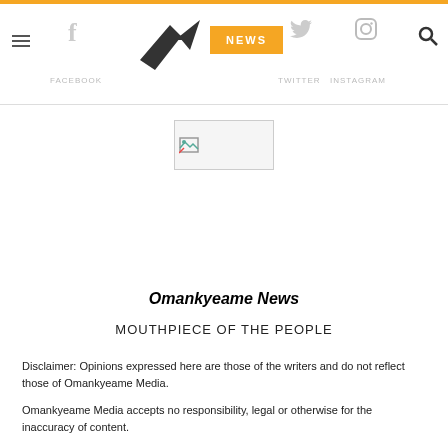FACEBOOK  TWITTER  INSTAGRAM  NEWS
[Figure (illustration): Broken image placeholder icon in top-center area]
Omankyeame News
MOUTHPIECE OF THE PEOPLE
Disclaimer: Opinions expressed here are those of the writers and do not reflect those of Omankyeame Media.
Omankyeame Media accepts no responsibility, legal or otherwise for the inaccuracy of content.